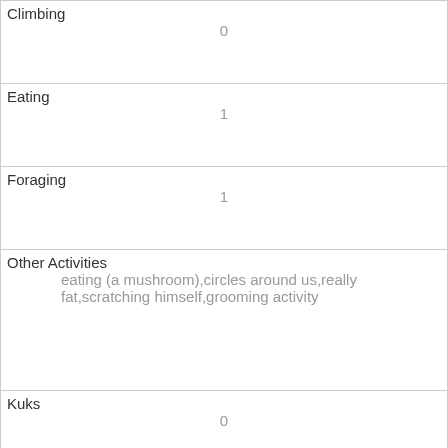| Field | Value |
| --- | --- |
| Climbing | 0 |
| Eating | 1 |
| Foraging | 1 |
| Other Activities | eating (a mushroom),circles around us,really fat,scratching himself,grooming activity |
| Kuks | 0 |
| Quaas | 0 |
| Moans | 0 |
| Tail flags | 0 |
| Tail twitches | 1 |
| Approaches | 1 |